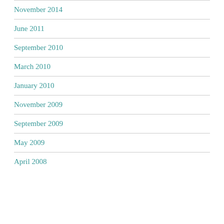November 2014
June 2011
September 2010
March 2010
January 2010
November 2009
September 2009
May 2009
April 2008